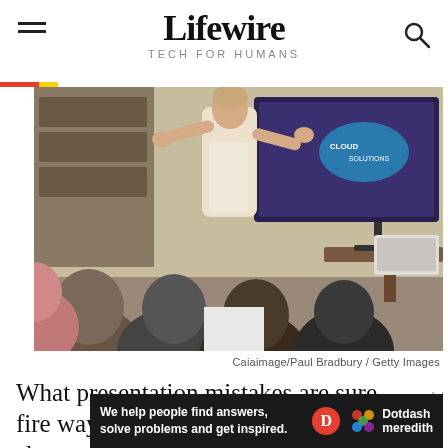Lifewire TECH FOR HUMANS
[Figure (photo): A woman in a white dress presenting to an audience in a conference room, with a screen showing 'Cloud Solutions' behind her. Attendees are seen from behind.]
Caiaimage/Paul Bradbury / Getty Images
What presentation mistakes are sure-fire ways to put your audience to sleep or send them
[Figure (infographic): Dotdash Meredith advertisement banner: 'We help people find answers, solve problems and get inspired.']